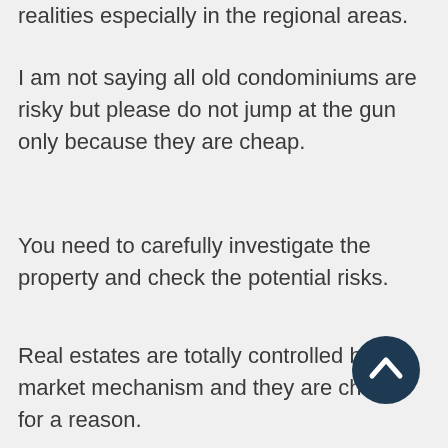realities especially in the regional areas.
I am not saying all old condominiums are risky but please do not jump at the gun only because they are cheap.
You need to carefully investigate the property and check the potential risks.
Real estates are totally controlled by the market mechanism and they are cheap for a reason.
[Figure (illustration): A dark navy circular scroll-to-top button with an upward chevron arrow icon, positioned in the lower right area of the page.]